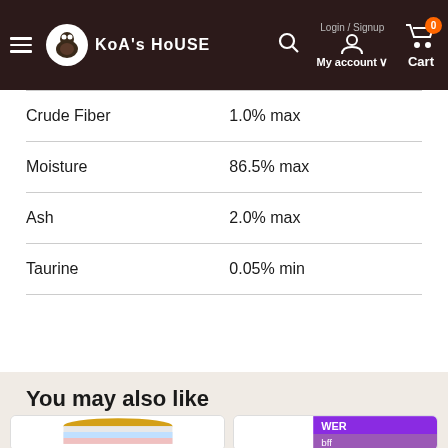KoA's HoUSE | Login / Signup | My account | Cart 0
| Nutrient | Amount |
| --- | --- |
| Crude Fiber | 1.0% max |
| Moisture | 86.5% max |
| Ash | 2.0% max |
| Taurine | 0.05% min |
You may also like
[Figure (photo): Product image of a can of BFF cat food with colorful label]
[Figure (photo): Partially visible product box labeled BFF with purple and colorful design]